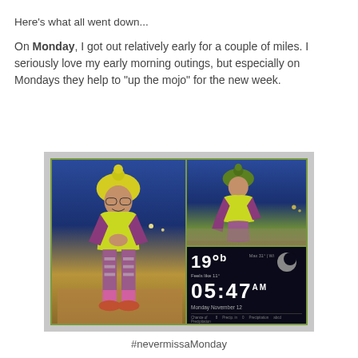Here's what all went down...
On Monday, I got out relatively early for a couple of miles. I seriously love my early morning outings, but especially on Mondays they help to "up the mojo" for the new week.
[Figure (photo): Photo collage (PIC-COLLAGE) of a woman in yellow/green hat and neon vest doing a post-run squat pose outdoors in early morning darkness, shown from two angles, plus a weather/clock screenshot showing 19 degrees, feels like 11, time 05:47 AM, Monday November 12.]
#nevermissaMonday